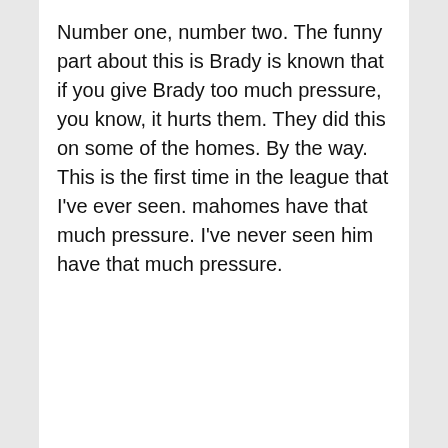Number one, number two. The funny part about this is Brady is known that if you give Brady too much pressure, you know, it hurts them. They did this on some of the homes. By the way. This is the first time in the league that I've ever seen. mahomes have that much pressure. I've never seen him have that much pressure.